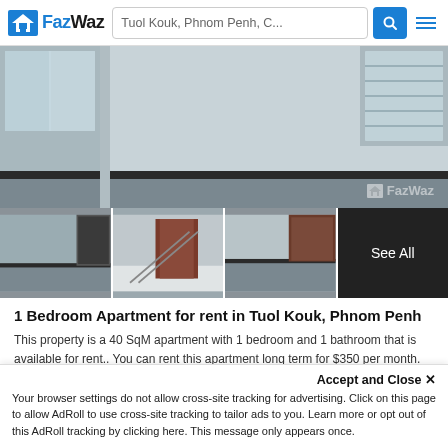FazWaz — Tuol Kouk, Phnom Penh, C...
[Figure (photo): Main interior photo of apartment room with light grey walls, large windows with shutters, dark marble floor trim, and FazWaz watermark]
[Figure (photo): Thumbnail strip of 3 interior photos and a dark 'See All' panel]
1 Bedroom Apartment for rent in Tuol Kouk, Phnom Penh
This property is a 40 SqM apartment with 1 bedroom and 1 bathroom that is available for rent.. You can rent this apartment long term for $350 per month. and was completed in Nov 2018 It is l...
1   1   40 SqM   Apartment
Year Built 2018
City View
Balcony
Accept and Close ✕
Your browser settings do not allow cross-site tracking for advertising. Click on this page to allow AdRoll to use cross-site tracking to tailor ads to you. Learn more or opt out of this AdRoll tracking by clicking here. This message only appears once.